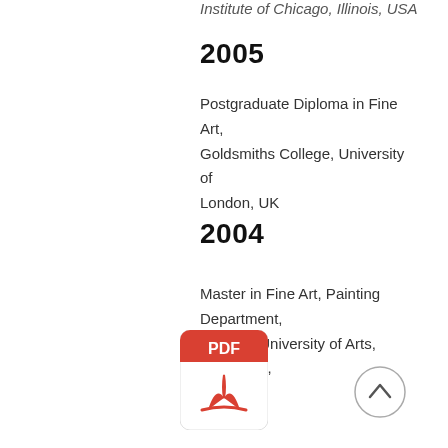Institute of Chicago, Illinois, USA
2005
Postgraduate Diploma in Fine Art, Goldsmiths College, University of London, UK
2004
Master in Fine Art, Painting Department, National University of Arts, Bucharest, Romania
[Figure (illustration): PDF file icon with red header and Adobe Acrobat logo symbol]
[Figure (illustration): Circular up-arrow navigation button]